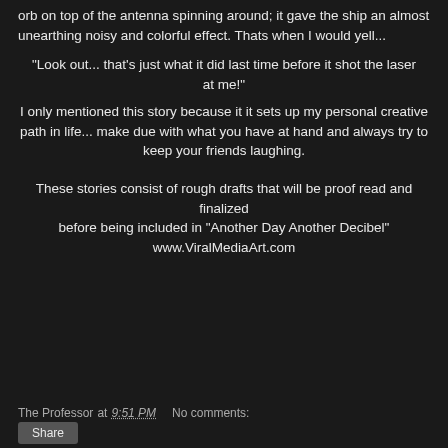orb on top of the antenna spinning around; it gave the ship an almost unearthing noisy and colorful effect. Thats when I would yell...
"Look out... that's just what it did last time before it shot the laser at me!"
I only mentioned this story because it it sets up my personal creative path in life... make due with what you have at hand and always try to keep your friends laughing.
These stories consist of rough drafts that will be proof read and finalized before being included in "Another Day Another Decibel" www.ViralMediaArt.com
The Professor at 9:51 PM   No comments: